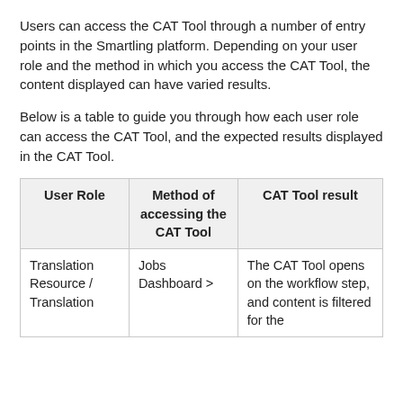Users can access the CAT Tool through a number of entry points in the Smartling platform. Depending on your user role and the method in which you access the CAT Tool, the content displayed can have varied results.
Below is a table to guide you through how each user role can access the CAT Tool, and the expected results displayed in the CAT Tool.
| User Role | Method of accessing the CAT Tool | CAT Tool result |
| --- | --- | --- |
| Translation Resource / Translation | Jobs Dashboard > | The CAT Tool opens on the workflow step, and content is filtered for the |